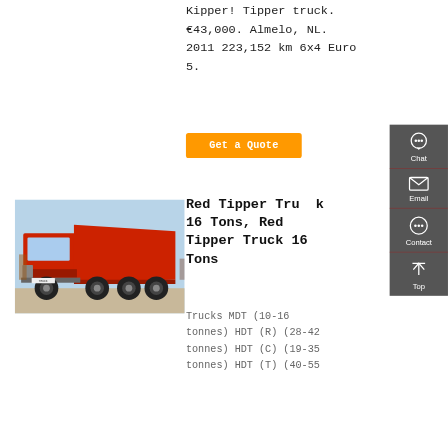Hubproduction Lottenburg Kipper! Tipper truck. €43,000. Almelo, NL. 2011 223,152 km 6x4 Euro 5.
Get a Quote
[Figure (photo): Red tipper/dump truck parked outdoors, front-left view, heavy duty with multiple rear axles]
Red Tipper Truck 16 Tons, Red Tipper Truck 16 Tons
Trucks MDT (10-16 tonnes) HDT (R) (28-42 tonnes) HDT (C) (19-35 tonnes) HDT (T) (40-55